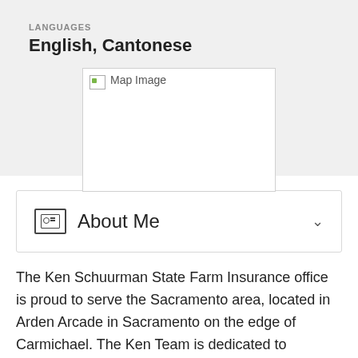LANGUAGES
English, Cantonese
[Figure (map): Map image placeholder showing a broken image icon with 'Map Image' alt text]
About Me
The Ken Schuurman State Farm Insurance office is proud to serve the Sacramento area, located in Arden Arcade in Sacramento on the edge of Carmichael. The Ken Team is dedicated to providing superior service to